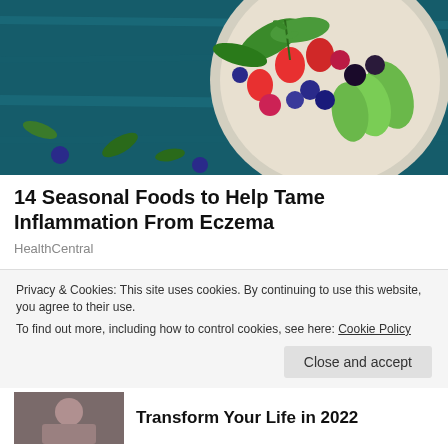[Figure (photo): Top-down photo of a white decorative plate with fresh berries (strawberries, blueberries, raspberries, blackberries), greens, avocado slices, and sprouts on a dark teal/blue wooden background]
14 Seasonal Foods to Help Tame Inflammation From Eczema
HealthCentral
[Figure (photo): Thumbnail photo of a blonde woman in a yellow top looking stressed]
How Stress Affects Psoriasis
Privacy & Cookies: This site uses cookies. By continuing to use this website, you agree to their use.
To find out more, including how to control cookies, see here: Cookie Policy
[Figure (photo): Thumbnail photo at bottom of page, partially visible]
Transform Your Life in 2022